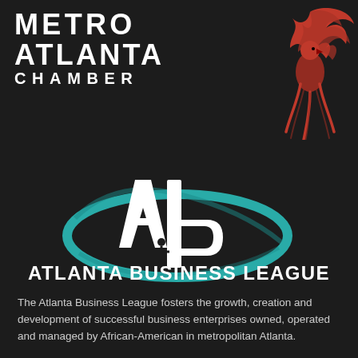[Figure (logo): Metro Atlanta Chamber logo with text METRO ATLANTA CHAMBER and a red phoenix bird illustration in top right]
[Figure (logo): Atlanta Business League logo: white AB lettermark with teal swoosh ellipse orbit around it and small human figure icon]
ATLANTA BUSINESS LEAGUE
The Atlanta Business League fosters the growth, creation and development of successful business enterprises owned, operated and managed by African-American in metropolitan Atlanta.